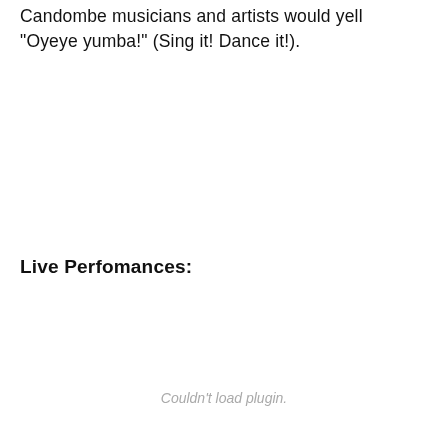Candombe musicians and artists would yell "Oyeye yumba!" (Sing it! Dance it!).
Live Perfomances:
Couldn't load plugin.